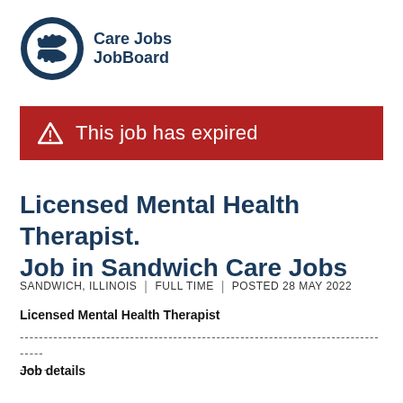[Figure (logo): Care Jobs JobBoard logo with circular icon showing hands and text 'Care Jobs JobBoard']
This job has expired
Licensed Mental Health Therapist. Job in Sandwich Care Jobs
SANDWICH, ILLINOIS  |  FULL TIME  |  POSTED 28 MAY 2022
Licensed Mental Health Therapist
--------------------------------------------------------------------------------
------
Job details